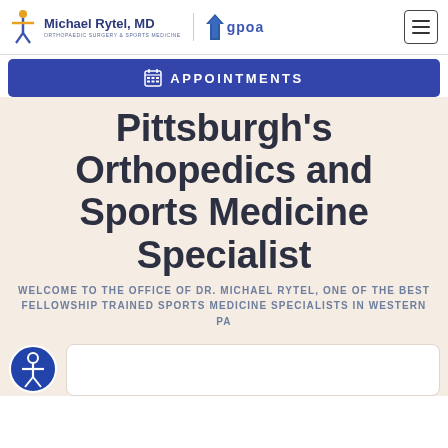Michael Rytel, MD | ORTHOPAEDIC SURGERY & SPORTS MEDICINE | gpoa
APPOINTMENTS
Pittsburgh's Orthopedics and Sports Medicine Specialist
WELCOME TO THE OFFICE OF DR. MICHAEL RYTEL, ONE OF THE BEST FELLOWSHIP TRAINED SPORTS MEDICINE SPECIALISTS IN WESTERN PA